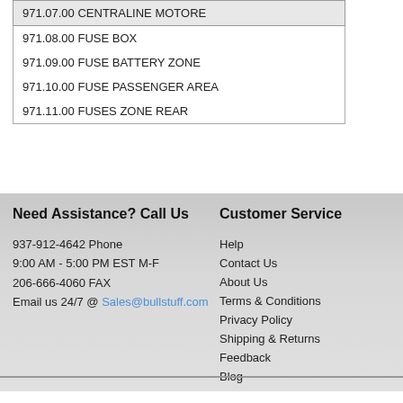971.07.00 CENTRALINE MOTORE
971.08.00 FUSE BOX
971.09.00 FUSE BATTERY ZONE
971.10.00 FUSE PASSENGER AREA
971.11.00 FUSES ZONE REAR
Need Assistance? Call Us
937-912-4642 Phone
9:00 AM - 5:00 PM EST M-F
206-666-4060 FAX
Email us 24/7 @ Sales@bullstuff.com
Customer Service
Help
Contact Us
About Us
Terms & Conditions
Privacy Policy
Shipping & Returns
Feedback
Blog